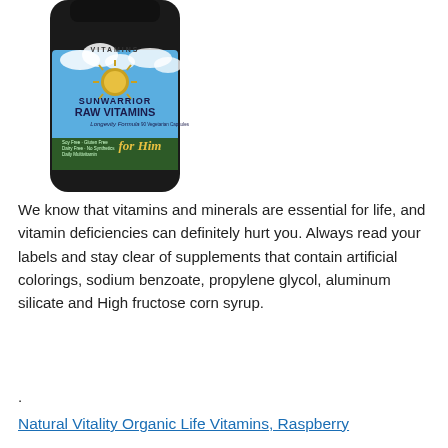[Figure (photo): Photo of Sunwarrior Raw Vitamins bottle for Him, showing the label with 'VITAMINS', 'SUNWARRIOR', 'RAW VITAMINS', 'Longevity Formula', 'for Him', '90 Vegetarian Capsules', 'Soy Free, Gluten Free, Dairy Free, No Synthetics', 'Daily Multivitamin']
We know that vitamins and minerals are essential for life, and vitamin deficiencies can definitely hurt you. Always read your labels and stay clear of supplements that contain artificial colorings, sodium benzoate, propylene glycol, aluminum silicate and High fructose corn syrup.
.
Natural Vitality Organic Life Vitamins, Raspberry